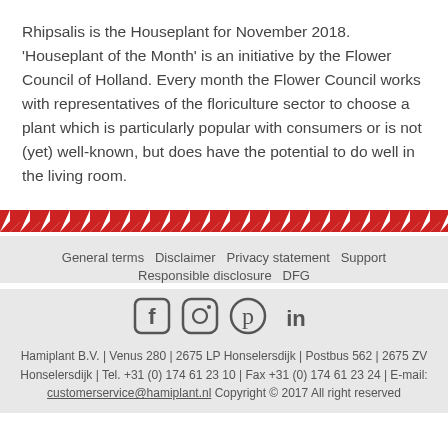Rhipsalis is the Houseplant for November 2018. ‘Houseplant of the Month’ is an initiative by the Flower Council of Holland. Every month the Flower Council works with representatives of the floriculture sector to choose a plant which is particularly popular with consumers or is not (yet) well-known, but does have the potential to do well in the living room.
[Figure (illustration): Red and white diagonal stripe decorative bar spanning full width]
General terms  Disclaimer  Privacy statement  Support  Responsible disclosure  DFG
[Figure (illustration): Social media icons: Facebook, Instagram, Pinterest, LinkedIn]
Hamiplant B.V. | Venus 280 | 2675 LP Honselersdijk | Postbus 562 | 2675 ZV Honselersdijk | Tel. +31 (0) 174 61 23 10 | Fax +31 (0) 174 61 23 24 | E-mail: customerservice@hamiplant.nl Copyright © 2017 All right reserved